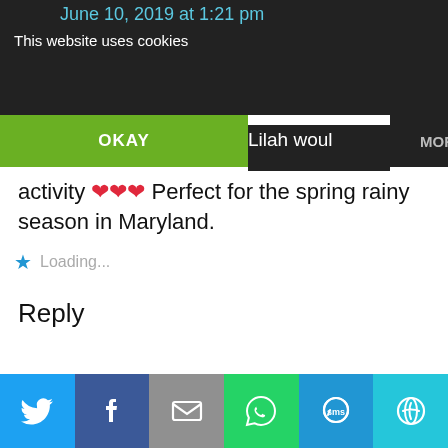June 10, 2019 at 1:21 pm
This website uses cookies
OKAY
MORE INFO
Lilah would LOVE this activity ❤❤❤ Perfect for the spring rainy season in Maryland.
Loading...
Reply
Courtney
June 13, 2019 at 12:09 am
[Figure (infographic): Social share bar with Twitter, Facebook, Email, WhatsApp, SMS, and other share buttons]